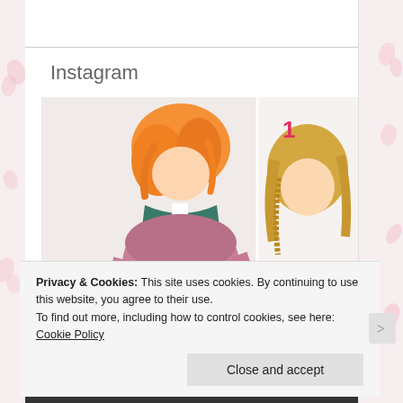Instagram
[Figure (photo): Manga/anime style illustration showing two characters with colorful hair (orange and blonde) and a girl with pink/mauve hair. Book volumes labeled 1 and 2 are visible in the background.]
Privacy & Cookies: This site uses cookies. By continuing to use this website, you agree to their use.
To find out more, including how to control cookies, see here: Cookie Policy
Close and accept